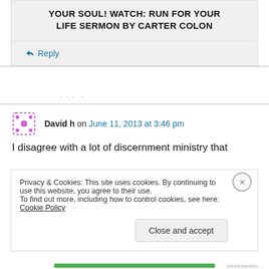YOUR SOUL! WATCH: RUN FOR YOUR LIFE SERMON BY CARTER COLON
↳ Reply
· · ·
David h on June 11, 2013 at 3:46 pm
I disagree with a lot of discernment ministry that
Privacy & Cookies: This site uses cookies. By continuing to use this website, you agree to their use.
To find out more, including how to control cookies, see here: Cookie Policy
Close and accept